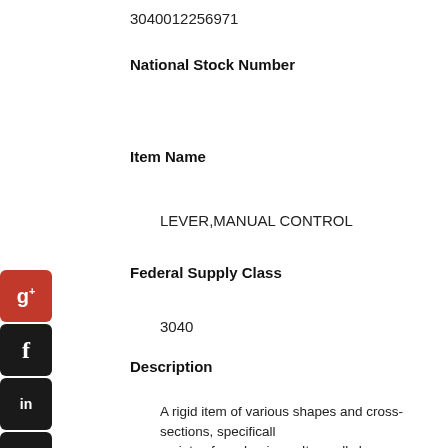3040012256971
National Stock Number
Item Name
LEVER,MANUAL CONTROL
Federal Supply Class
3040
Description
A rigid item of various shapes and cross-sections, specifically designed to control and/or operate a variety of mechanisms. It usually has an integral handgrip, knob, or other gripping means or provisions for the same. It may have accommodations for locking and/or positioning. It may also have a transverse shaft perpendicular to the axis or a through hole to provide a means of turning and may have additional accommodation(s) for attachment of CONNECTING ROD; LINK, CONNECTING; CLEVIS, SINGLE LEG; and CLEVIS, ROD END; etc.. Excludes ARM, OPERATING; CRANK; HANDWHEEL; and BELL CRANK.